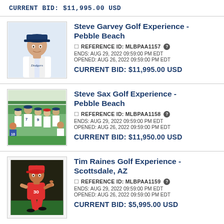CURRENT BID: $11,995.00 USD
Steve Garvey Golf Experience - Pebble Beach
REFERENCE ID: MLBPAA1157
ENDS: AUG 29, 2022 09:59:00 PM EDT
OPENED: AUG 26, 2022 09:59:00 PM EDT
CURRENT BID: $11,995.00 USD
[Figure (photo): Steve Garvey in Dodgers uniform, headshot photo]
Steve Sax Golf Experience - Pebble Beach
REFERENCE ID: MLBPAA1158
ENDS: AUG 29, 2022 09:59:00 PM EDT
OPENED: AUG 26, 2022 09:59:00 PM EDT
CURRENT BID: $11,950.00 USD
[Figure (photo): Baseball players at field, group photo with players wearing number 7 and 9]
Tim Raines Golf Experience - Scottsdale, AZ
REFERENCE ID: MLBPAA1159
ENDS: AUG 29, 2022 09:59:00 PM EDT
OPENED: AUG 26, 2022 09:59:00 PM EDT
CURRENT BID: $5,995.00 USD
[Figure (photo): Tim Raines in Montreal Expos uniform running on field]